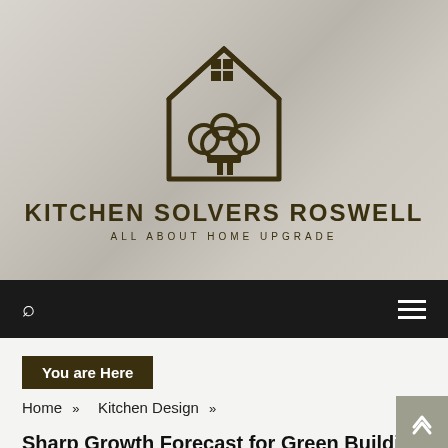[Figure (logo): Kitchen Solvers Roswell logo: house outline with chef hat inside and 2x2 window grid on top, dark olive/brown color on blurred gray background]
KITCHEN SOLVERS ROSWELL
ALL ABOUT HOME UPGRADE
Search icon and hamburger menu on black navigation bar
You are Here
Home » Kitchen Design »
Sharp Growth Forecast for Green Building Materials Market